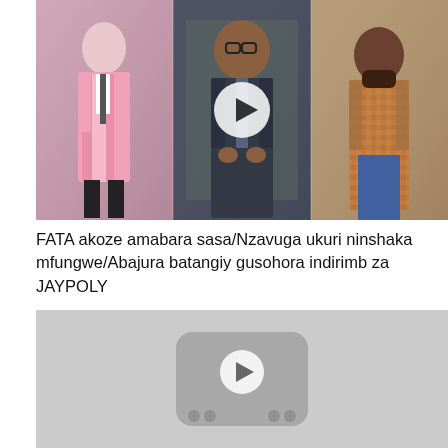[Figure (photo): Composite image of three men: left panel shows a man in a pink suit, center panel shows a man in a dark shirt with a tie holding something, right panel shows a man in a patterned shirt. A circular play button overlay is centered on the center panel.]
FATA akoze amabara sasa/Nzavuga ukuri ninshaka mfungwe/Abajura batangiy gusohora indirimb za JAYPOLY
[Figure (screenshot): A YouTube-style video thumbnail placeholder with a light gray background and a darker gray rounded rectangle in the center containing a circular play button. Two pairs of dots flank the play button within the rounded rectangle.]